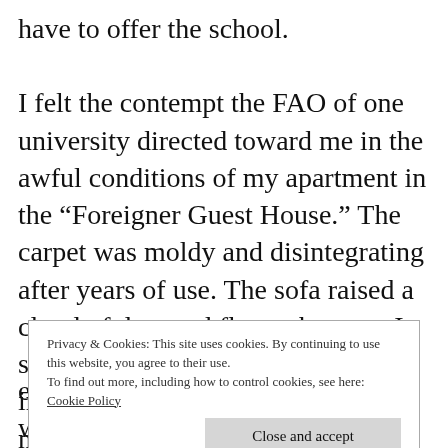have to offer the school.

I felt the contempt the FAO of one university directed toward me in the awful conditions of my apartment in the “Foreigner Guest House.” The carpet was moldy and disintegrating after years of use. The sofa raised a cloud of dust and fleas whenever I sat down in it. The hot water was intermittent. Maids came in every morning at 8 am to clean (I was expected to be
Privacy & Cookies: This site uses cookies. By continuing to use this website, you agree to their use.
To find out more, including how to control cookies, see here: Cookie Policy
encountered the Great Silence and was